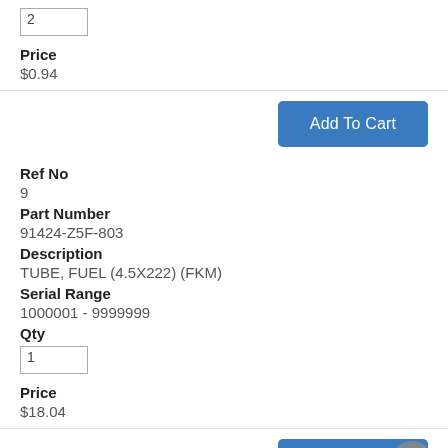2
Price
$0.94
Add To Cart
Ref No
9
Part Number
91424-Z5F-803
Description
TUBE, FUEL (4.5X222) (FKM)
Serial Range
1000001 - 9999999
Qty
1
Price
$18.04
Add To Cart